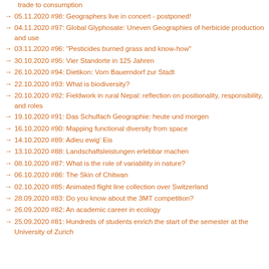trade to consumption
05.11.2020 #98: Geographers live in concert - postponed!
04.11.2020 #97: Global Glyphosate: Uneven Geographies of herbicide production and use
03.11.2020 #96: "Pesticides burned grass and know-how"
30.10.2020 #95: Vier Standorte in 125 Jahren
26.10.2020 #94: Dietikon: Vom Bauerndorf zur Stadt
22.10.2020 #93: What is biodiversity?
20.10.2020 #92: Fieldwork in rural Nepal: reflection on positionality, responsibility, and roles
19.10.2020 #91: Das Schulfach Geographie: heute und morgen
16.10.2020 #90: Mapping functional diversity from space
14.10.2020 #89: Adieu ewig' Eis
13.10.2020 #88: Landschaftsleistungen erlebbar machen
08.10.2020 #87: What is the role of variability in nature?
06.10.2020 #86: The Skin of Chitwan
02.10.2020 #85: Animated flight line collection over Switzerland
28.09.2020 #83: Do you know about the 3MT competition?
26.09.2020 #82: An academic career in ecology
25.09.2020 #81: Hundreds of students enrich the start of the semester at the University of Zurich